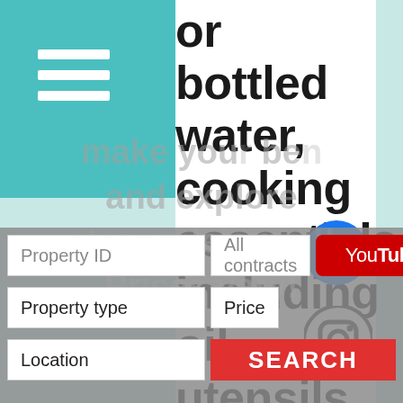[Figure (screenshot): Webpage screenshot with teal sidebar navigation, hamburger menu icon, large bold text listing property amenities, social media icons (thumbs up/Facebook, Instagram, YouTube), and a property search form with fields for Property ID, All contracts, Property type, Price, Location, and a Search button.]
or bottled water, cooking essentials including oil, utensils, and servingware, shower and beach towels, iron and hairdruer, Come in,
| Property ID | All contracts |
| Property type | Price |
| Location | SEARCH |